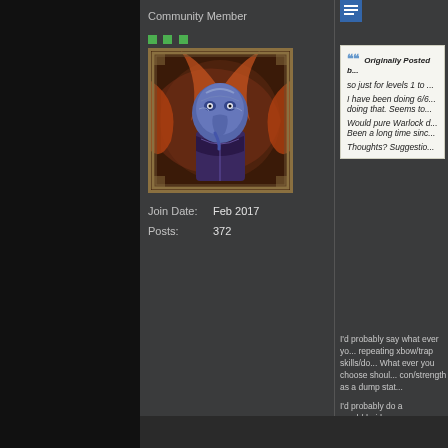Community Member
[Figure (illustration): Dark fantasy character avatar - blue alien/creature with elephant-like trunk, wearing ornate armor, against dark red/orange background with decorative border]
Join Date: Feb 2017
Posts: 372
[Figure (screenshot): Blue icon/button at top right]
Originally Posted b...
so just for levels 1 to ...
I have been doing 6/6... doing that. Seems to...
Would pure Warlock d... Been a long time sinc...
Thoughts? Suggestio...
I'd probably say what ever yo... repeating xbow/trap skills/do... What ever you choose shoul... con/strength as a dump stat...

I'd probably do a monk/druid...